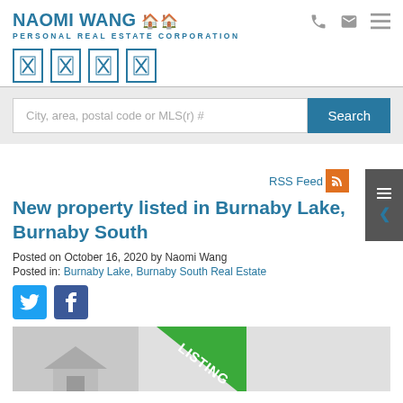NAOMI WANG 🏠🏠 PERSONAL REAL ESTATE CORPORATION
[Figure (screenshot): Search bar with text 'City, area, postal code or MLS(r) #' and a blue Search button]
RSS Feed
New property listed in Burnaby Lake, Burnaby South
Posted on October 16, 2020 by Naomi Wang
Posted in: Burnaby Lake, Burnaby South Real Estate
[Figure (photo): Property listing photo with green NEW LISTING badge diagonal in corner]